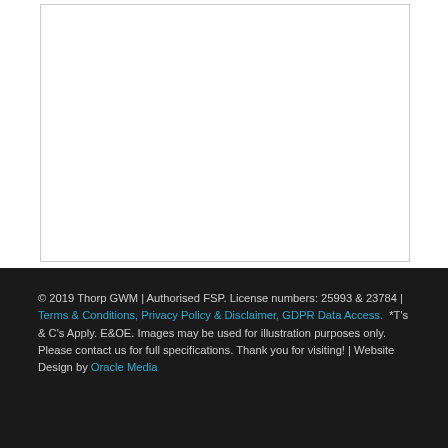© 2019 Thorp GWM | Authorised FSP. License numbers: 25993 & 23784 | Terms & Conditions, Privacy Policy & Disclaimer, GDPR Data Access.  *T's & C's Apply. E&OE. Images may be used for illustration purposes only. Please contact us for full specifications. Thank you for visiting! | Website Design by Oracle Media